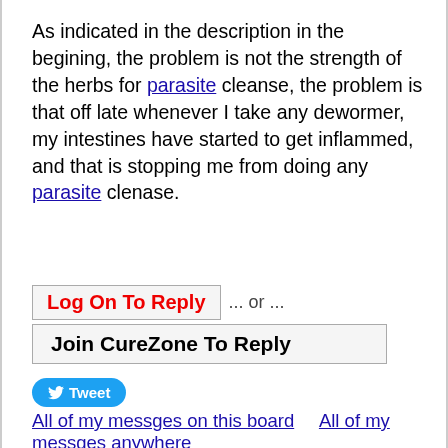As indicated in the description in the begining, the problem is not the strength of the herbs for parasite cleanse, the problem is that off late whenever I take any dewormer, my intestines have started to get inflammed, and that is stopping me from doing any parasite clenase.
Log On To Reply ... or ... Join CureZone To Reply
[Figure (other): Tweet button (Twitter social share button)]
All of my messges on this board    All of my messges anywhere